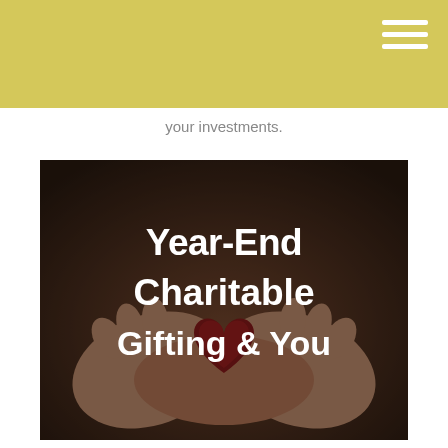your investments.
[Figure (photo): Hands cupping a red knit heart, with overlaid white bold text reading 'Year-End Charitable Gifting & You']